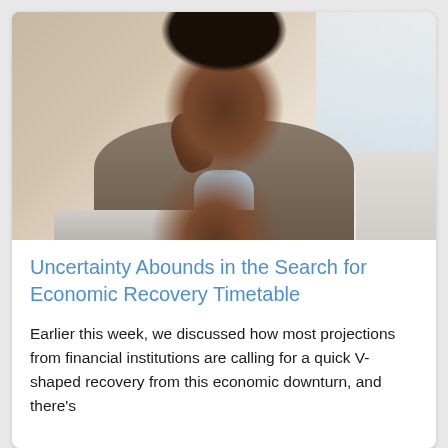[Figure (photo): A Black woman with short natural hair, wearing a grey cardigan over a light blue top, resting her chin on her hand thoughtfully while looking at a laptop screen. The background shows a bright, softly lit interior space.]
Uncertainty Abounds in the Search for Economic Recovery Timetable
Earlier this week, we discussed how most projections from financial institutions are calling for a quick V-shaped recovery from this economic downturn, and there's